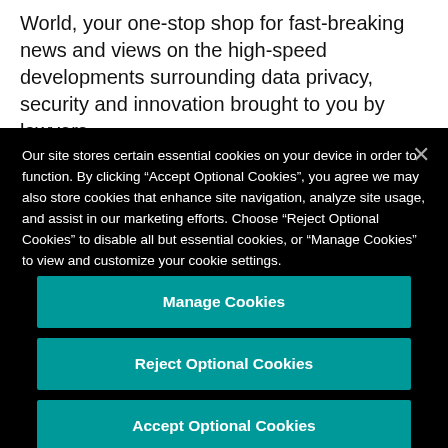World, your one-stop shop for fast-breaking news and views on the high-speed developments surrounding data privacy, security and innovation brought to you by lawyers
Our site stores certain essential cookies on your device in order to function. By clicking “Accept Optional Cookies”, you agree we may also store cookies that enhance site navigation, analyze site usage, and assist in our marketing efforts. Choose “Reject Optional Cookies” to disable all but essential cookies, or “Manage Cookies” to view and customize your cookie settings.
Read our cookie notice.
Manage Cookies
Reject Optional Cookies
Accept Optional Cookies